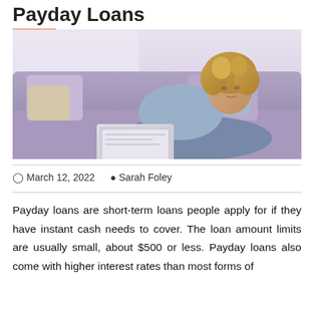Payday Loans
[Figure (photo): Woman with curly blonde hair lying on a purple couch using a laptop computer, wearing a light blue denim jacket]
March 12, 2022   Sarah Foley
Payday loans are short-term loans people apply for if they have instant cash needs to cover. The loan amount limits are usually small, about $500 or less. Payday loans also come with higher interest rates than most forms of